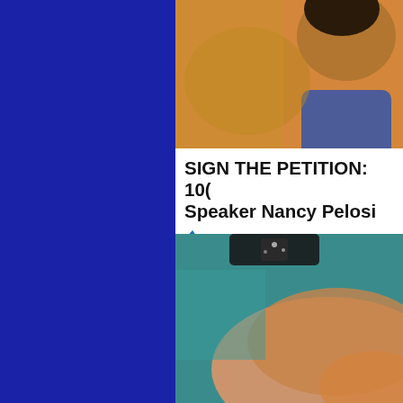[Figure (photo): Blue sidebar panel on the left side of the page]
[Figure (photo): Cropped photo showing a person with dark hair wearing a blue jacket, orange background, top portion of face cut off]
SIGN THE PETITION: 100... Speaker Nancy Pelosi
🔥 50,229
[Figure (photo): Blurred close-up photo of a person's hand or arm, teal/orange background, dark accessory visible]